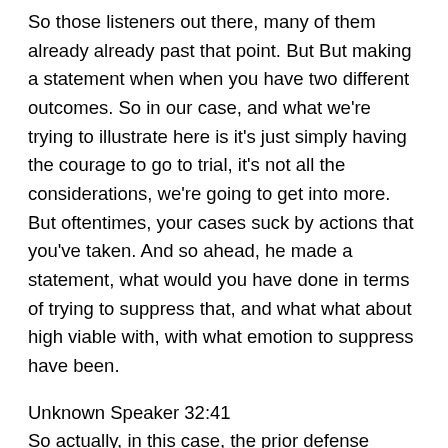So those listeners out there, many of them already already past that point. But But making a statement when when you have two different outcomes. So in our case, and what we're trying to illustrate here is it's just simply having the courage to go to trial, it's not all the considerations, we're going to get into more. But oftentimes, your cases suck by actions that you've taken. And so ahead, he made a statement, what would you have done in terms of trying to suppress that, and what what about high viable with, with what emotion to suppress have been.
Unknown Speaker 32:41
So actually, in this case, the prior defense attorney made a motion to suppress that statement, because he